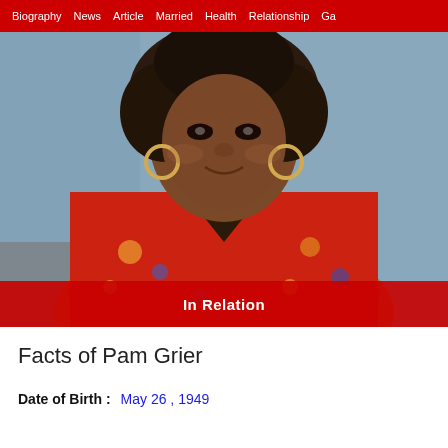Biography  News  Article  Married  Health  Relationship  Ga
[Figure (photo): Portrait photo of Pam Grier wearing a red floral shirt, with an afro hairstyle and hoop earrings, smiling, with a blurred outdoor background.]
In Relation
Facts of Pam Grier
Date of Birth :   May 26 , 1949